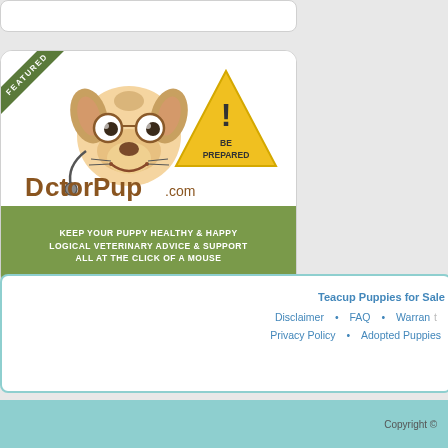[Figure (illustration): DoctorPup.com advertisement banner. Features a cartoon puppy with glasses, a yellow warning triangle with exclamation mark saying 'BE PREPARED', the DoctorPup.com logo in brown text, and a green banner reading 'KEEP YOUR PUPPY HEALTHY & HAPPY LOGICAL VETERINARY ADVICE & SUPPORT ALL AT THE CLICK OF A MOUSE'. Has a 'FEATURED' ribbon in the top-left corner.]
Teacup Puppies for Sale • Disclaimer • FAQ • Warranty • Privacy Policy • Adopted Puppies • Copyright ©